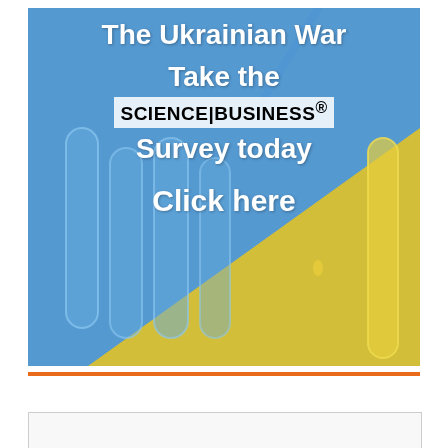[Figure (infographic): Advertisement banner with blue and yellow background (Ukrainian flag colors) showing laboratory test tubes. Text overlay reads: 'The Ukrainian War / Take the / SCIENCE|BUSINESS® / Survey today / Click here']